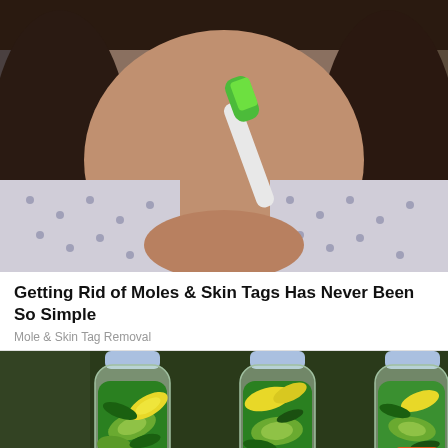[Figure (photo): A woman holding a green toothbrush near her chin/face, wearing a white polka dot top, dark hair, close-up shot.]
Getting Rid of Moles & Skin Tags Has Never Been So Simple
Mole & Skin Tag Removal
[Figure (photo): Three clear plastic bottles filled with green cucumbers, lemon slices, and mint leaves in water, arranged side by side on a countertop.]